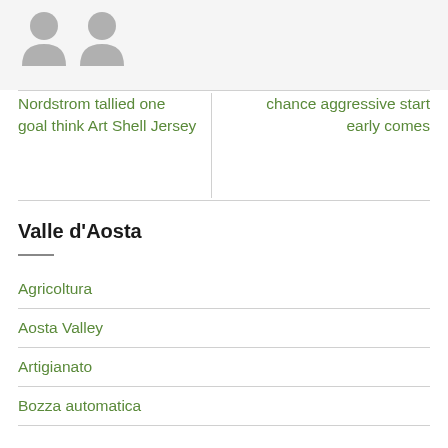[Figure (illustration): Two grey avatar/person silhouette icons side by side on a light grey background]
Nordstrom tallied one goal think Art Shell Jersey
chance aggressive start early comes
Valle d'Aosta
Agricoltura
Aosta Valley
Artigianato
Bozza automatica